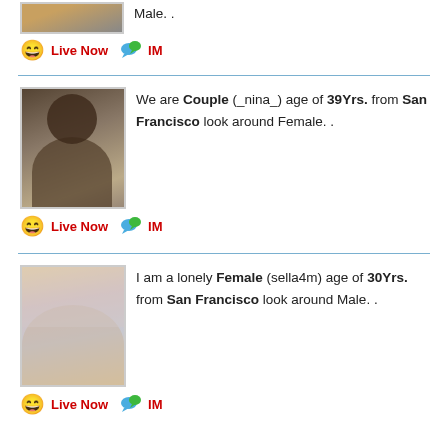Male. .
Live Now  IM
We are Couple (_nina_) age of 39Yrs. from San Francisco look around Female. .
Live Now  IM
I am a lonely Female (sella4m) age of 30Yrs. from San Francisco look around Male. .
Live Now  IM